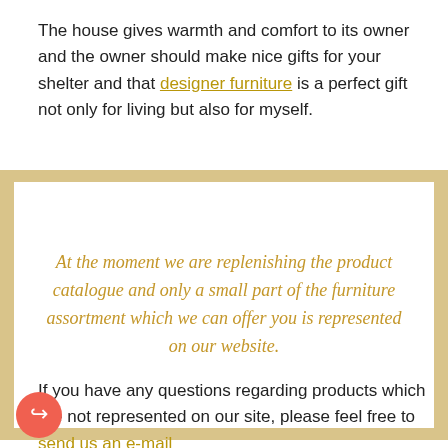The house gives warmth and comfort to its owner and the owner should make nice gifts for your shelter and that designer furniture is a perfect gift not only for living but also for myself.
At the moment we are replenishing the product catalogue and only a small part of the furniture assortment which we can offer you is represented on our website.
If you have any questions regarding products which are not represented on our site, please feel free to send us an e-mail